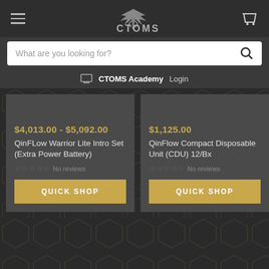[Figure (screenshot): CTOMS e-commerce website header with hamburger menu, CTOMS logo with caduceus icon, and shopping cart icon on dark background]
[Figure (screenshot): Search bar with placeholder text 'What are you looking for?' and a search icon on white background]
CTOMS Academy  Login
$4,013.00 - $5,092.00
QinFLow Warrior Lite Intro Set (Extra Power Battery)
No reviews
QUICK SHOP
$1,125.00
QinFlow Compact Disposable Unit (CDU) 12/Bx
No reviews
QUICK SHOP